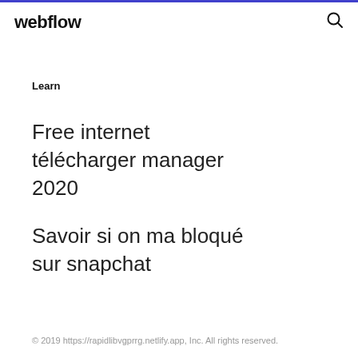webflow
Learn
Free internet télécharger manager 2020
Savoir si on ma bloqué sur snapchat
© 2019 https://rapidlibvgprrg.netlify.app, Inc. All rights reserved.